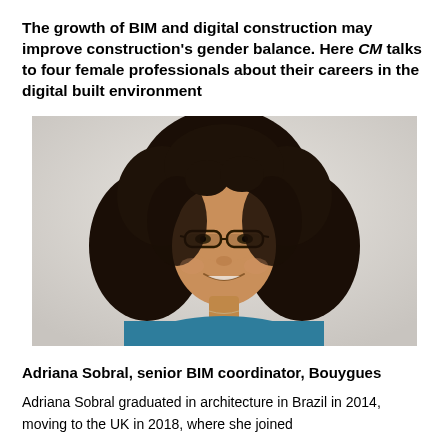The growth of BIM and digital construction may improve construction's gender balance. Here CM talks to four female professionals about their careers in the digital built environment
[Figure (photo): Portrait photo of Adriana Sobral, a woman with curly dark hair and glasses, wearing a teal top, smiling against a light background.]
Adriana Sobral, senior BIM coordinator, Bouygues
Adriana Sobral graduated in architecture in Brazil in 2014, moving to the UK in 2018, where she joined